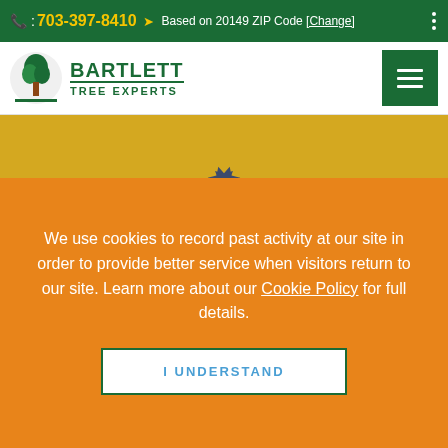: 703-397-8410  Based on 20149 ZIP Code [Change]
[Figure (logo): Bartlett Tree Experts logo with tree icon]
CERTIFICATE OF INSURANCE
View our certificate of liability
We use cookies to record past activity at our site in order to provide better service when visitors return to our site. Learn more about our Cookie Policy for full details.
I UNDERSTAND